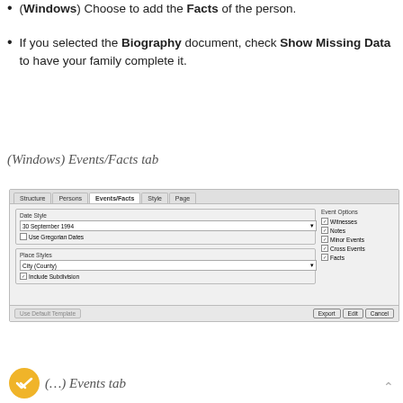(Windows) Choose to add the Facts of the person.
If you selected the Biography document, check Show Missing Data to have your family complete it.
(Windows) Events/Facts tab
[Figure (screenshot): Windows dialog showing Events/Facts tab with Date Style dropdown set to '30 September 1994', Use Gregorian Dates checkbox, Place Styles dropdown set to 'City (County)', Include Subdivision checkbox, and Event Options section with checkboxes for Witnesses, Notes, Minor Events, Cross Events, and Facts. Footer has Use Default Template, Export, Edit, and Cancel buttons.]
(…) Events tab